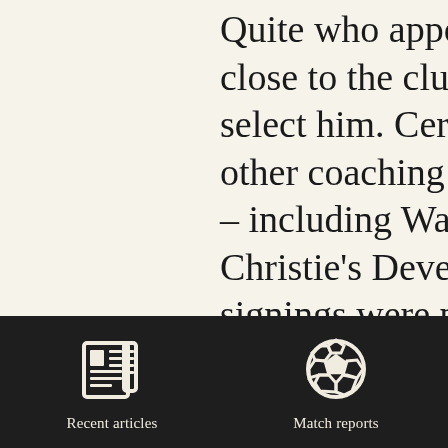Quite who appointed close to the club claim select him. Certainly J other coaching staff w – including Wayne Al Christie's Developmen signings were presente with Jackson having th

It's clear that, for the D work, the first team m working closely togeth
[Figure (infographic): Dark navigation bar with two icons: a newspaper icon labeled 'Recent articles' and a soccer ball icon labeled 'Match reports']